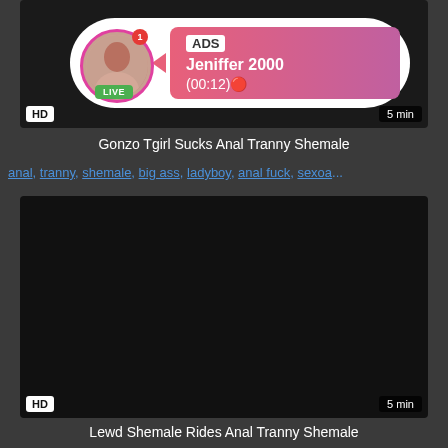[Figure (screenshot): Video thumbnail with live chat overlay ad. Shows a person in avatar with LIVE badge, notification badge, pink/red gradient ad box with text: ADS, Jeniffer 2000, (00:12). HD badge bottom-left, 5 min badge bottom-right.]
Gonzo Tgirl Sucks Anal Tranny Shemale
anal, tranny, shemale, big ass, ladyboy, anal fuck, sexoa...
[Figure (screenshot): Dark/black video thumbnail. HD badge bottom-left, 5 min badge bottom-right.]
Lewd Shemale Rides Anal Tranny Shemale